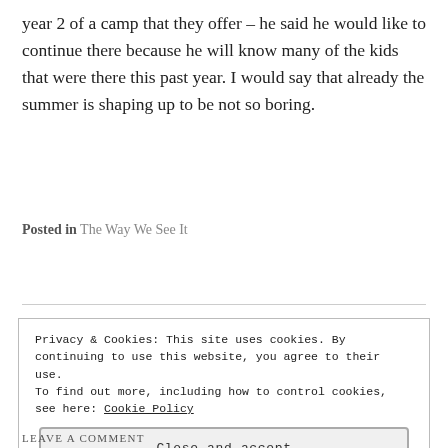year 2 of a camp that they offer – he said he would like to continue there because he will know many of the kids that were there this past year. I would say that already the summer is shaping up to be not so boring.
Posted in The Way We See It
Privacy & Cookies: This site uses cookies. By continuing to use this website, you agree to their use.
To find out more, including how to control cookies, see here: Cookie Policy
Close and accept
LEAVE A COMMENT